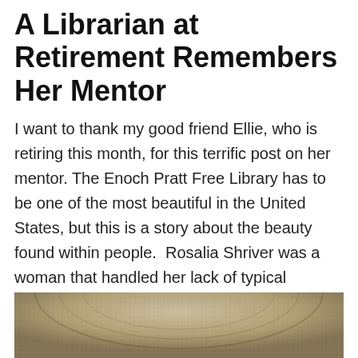A Librarian at Retirement Remembers Her Mentor
I want to thank my good friend Ellie, who is retiring this month, for this terrific post on her mentor. The Enoch Pratt Free Library has to be one of the most beautiful in the United States, but this is a story about the beauty found within people.  Rosalia Shriver was a woman that handled her lack of typical physical beauty with grace and intelligence.  Ellie shares her memories of a woman that I am sure influenced many lives, and that is truly beautiful.  Check out another wonderful post by Ellie other posts here.  Also more on the Enoch Pratt Free Library here.
[Figure (photo): Partial view of the interior dome/ceiling of the Enoch Pratt Free Library, showing ornate circular architectural detail with patterned stonework]